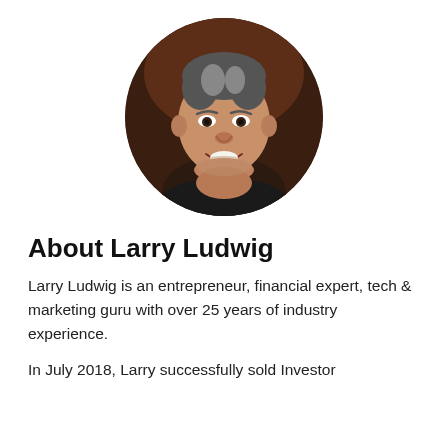[Figure (photo): Circular headshot photo of Larry Ludwig, a middle-aged man with dark grey hair, smiling, wearing a dark shirt, against a dark brown background.]
About Larry Ludwig
Larry Ludwig is an entrepreneur, financial expert, tech & marketing guru with over 25 years of industry experience.
In July 2018, Larry successfully sold Investor